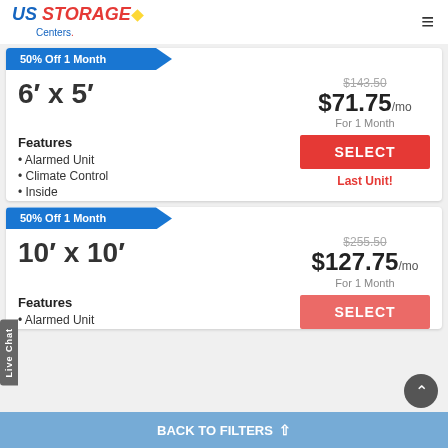US STORAGE Centers
50% Off 1 Month
6' x 5'
$143.50 $71.75/mo For 1 Month
Features
Alarmed Unit
Climate Control
Inside
SELECT
Last Unit!
50% Off 1 Month
10' x 10'
$255.50 $127.75/mo For 1 Month
Features
Alarmed Unit
SELECT
BACK TO FILTERS